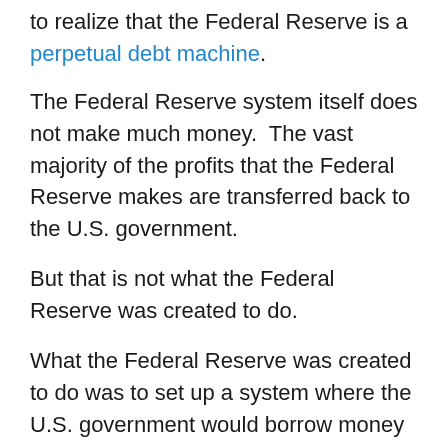to realize that the Federal Reserve is a perpetual debt machine.
The Federal Reserve system itself does not make much money.  The vast majority of the profits that the Federal Reserve makes are transferred back to the U.S. government.
But that is not what the Federal Reserve was created to do.
What the Federal Reserve was created to do was to set up a system where the U.S. government would borrow money and pay interest on it instead of just creating the money itself.
Last year the U.S. government spent more than